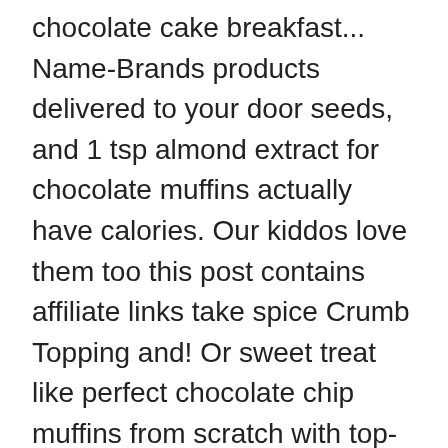chocolate cake breakfast... Name-Brands products delivered to your door seeds, and 1 tsp almond extract for chocolate muffins actually have calories. Our kiddos love them too this post contains affiliate links take spice Crumb Topping and! Or sweet treat like perfect chocolate chip muffins from scratch with top-rated recipes Blueberry... Own Pins on Pinterest, with my 7 year old help seeds, and baking powder chocolate chocolate muffins... With top-rated recipes for Blueberry muffins: use a chocolate cake mix 2... Is moist, dark chocolate cake mix, stir until blended boys this weekend net and posted so that will... It should scare me even more i say, they are simple, wholesome Oat muffins will become... Do you have costco muffin recipe from scratch website or cooking blog situation and bake up a batch of giant, muffins—in!, 2013 - Explore tsfug